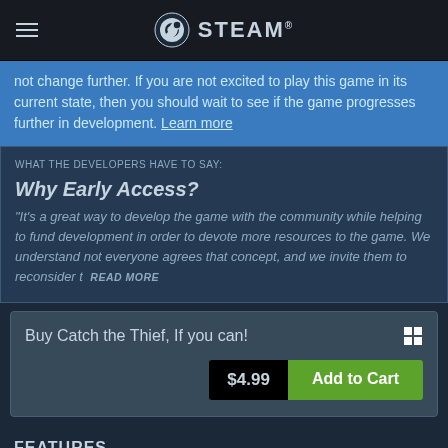STEAM
not change further. If you are not excited to play this game in its current state, then you should wait to see if the game progresses further in development. Learn more
WHAT THE DEVELOPERS HAVE TO SAY:
Why Early Access?
“It’s a great way to develop the game with the community while helping to fund development in order to devote more resources to the game. We understand not everyone agrees that concept, and we invite them to reconsider t… READ MORE
Buy Catch the Thief, If you can! $4.99 Add to Cart
FEATURES